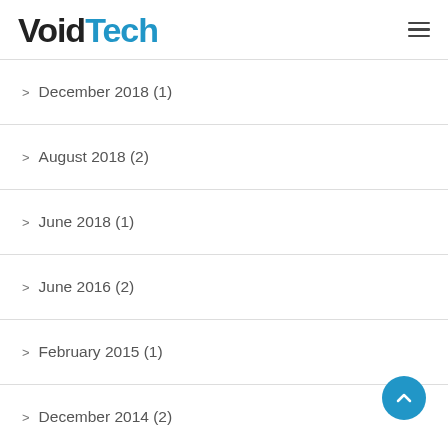VoidTech
> December 2018 (1)
> August 2018 (2)
> June 2018 (1)
> June 2016 (2)
> February 2015 (1)
> December 2014 (2)
> December 2013 (1)